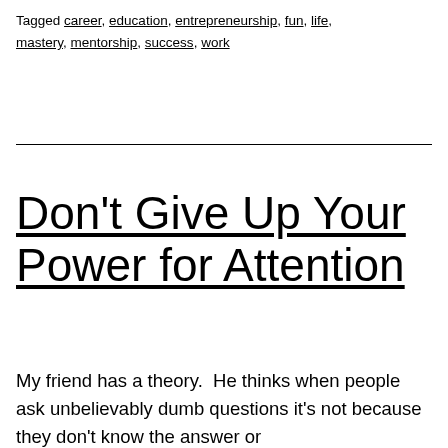Tagged career, education, entrepreneurship, fun, life, mastery, mentorship, success, work
Don't Give Up Your Power for Attention
My friend has a theory.  He thinks when people ask unbelievably dumb questions it's not because they don't know the answer or